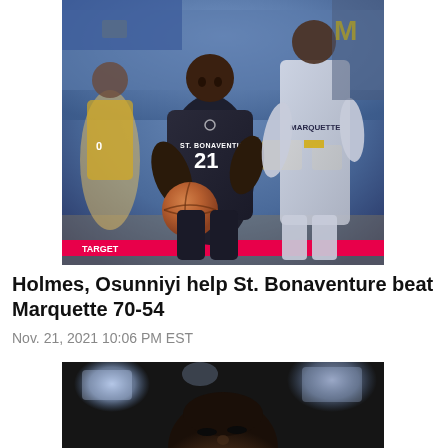[Figure (photo): Basketball game action shot: St. Bonaventure player #21 in dark jersey driving with ball, defended by Marquette player in white jersey, crowd in background]
Holmes, Osunniyi help St. Bonaventure beat Marquette 70-54
Nov. 21, 2021 10:06 PM EST
[Figure (photo): Close-up photo of a basketball player looking upward, with bright arena lights in background]